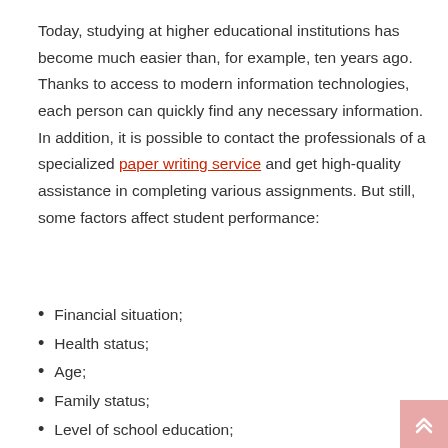Today, studying at higher educational institutions has become much easier than, for example, ten years ago. Thanks to access to modern information technologies, each person can quickly find any necessary information. In addition, it is possible to contact the professionals of a specialized paper writing service and get high-quality assistance in completing various assignments. But still, some factors affect student performance:
Financial situation;
Health status;
Age;
Family status;
Level of school education;
Possession of the skills of self-organization,